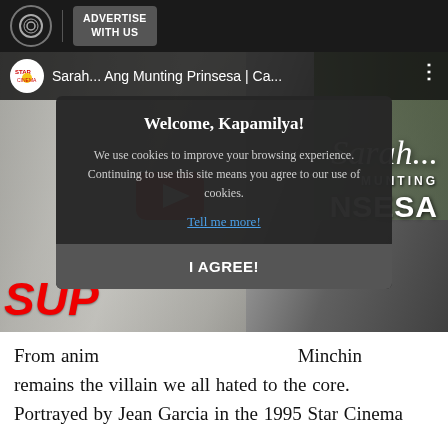ADVERTISE WITH US
[Figure (screenshot): YouTube video thumbnail for 'Sarah... Ang Munting Prinsesa | Ca...' with Star Cinema channel icon, red play button, and movie title overlay text including 'Sarah...', 'MUNTING', 'NSESA', and 'SUP' in red]
[Figure (screenshot): Cookie consent modal dialog: 'Welcome, Kapamilya!' heading, text 'We use cookies to improve your browsing experience. Continuing to use this site means you agree to our use of cookies.', a 'Tell me more!' link, and 'I AGREE!' button]
From anim[ation to live-action, Miss] Minchin remains the villain we all hated to the core. Portrayed by Jean Garcia in the 1995 Star Cinema